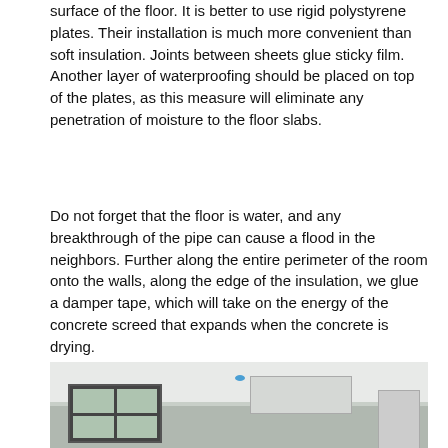surface of the floor. It is better to use rigid polystyrene plates. Their installation is much more convenient than soft insulation. Joints between sheets glue sticky film. Another layer of waterproofing should be placed on top of the plates, as this measure will eliminate any penetration of moisture to the floor slabs.
Do not forget that the floor is water, and any breakthrough of the pipe can cause a flood in the neighbors. Further along the entire perimeter of the room onto the walls, along the edge of the insulation, we glue a damper tape, which will take on the energy of the concrete screed that expands when the concrete is drying.
[Figure (photo): Interior photo of a modern kitchen with floor-to-ceiling dark-framed glass doors on the left showing a garden, white ceilings with recessed lighting and a blue ceiling light fixture, a white island kitchen with overhead extractor hood in the center-right, and stainless steel refrigerator on the far right.]